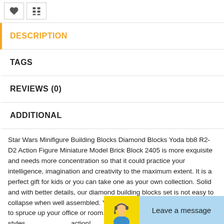[Figure (other): Two small icon buttons: a heart/bookmark icon and a grid/table icon]
DESCRIPTION
TAGS
REVIEWS (0)
ADDITIONAL
Star Wars Minifigure Building Blocks Diamond Blocks Yoda bb8 R2-D2 Action Figure Miniature Model Brick Block 2405 is more exquisite and needs more concentration so that it could practice your intelligence, imagination and creativity to the maximum extent. It is a perfect gift for kids or you can take one as your own collection. Solid and with better details, our diamond building blocks set is not easy to collapse when well assembled. You can treat it as a stylish decoration to spruce up your office or room. And we have various styles action!
Mini diamond building block toy with uniqu
[Figure (illustration): Chat widget with yellow avatar and blue 'Leave a message' button]